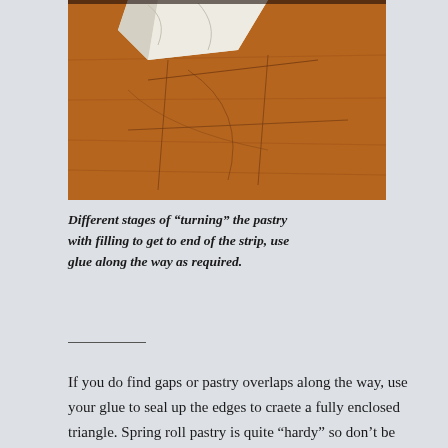[Figure (photo): A wooden cutting board surface with a piece of white pastry dough folded/turned at the top corner, showing knife score lines on the board surface.]
Different stages of "turning" the pastry with filling to get to end of the strip, use glue along the way as required.
If you do find gaps or pastry overlaps along the way, use your glue to seal up the edges to craete a fully enclosed triangle. Spring roll pastry is quite "hardy" so don't be afraid of it and as they say